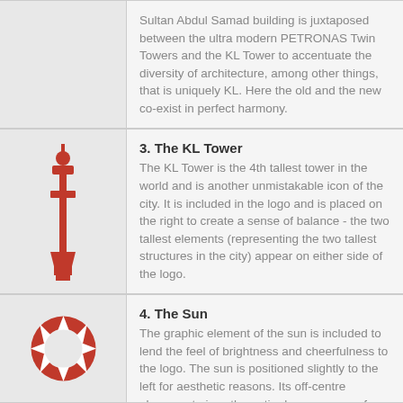[Figure (illustration): Partial top row — continuation of previous section with no icon visible]
Sultan Abdul Samad building is juxtaposed between the ultra modern PETRONAS Twin Towers and the KL Tower to accentuate the diversity of architecture, among other things, that is uniquely KL. Here the old and the new co-exist in perfect harmony.
[Figure (illustration): Red icon illustration of the KL Tower]
3. The KL Tower
The KL Tower is the 4th tallest tower in the world and is another unmistakable icon of the city. It is included in the logo and is placed on the right to create a sense of balance - the two tallest elements (representing the two tallest structures in the city) appear on either side of the logo.
[Figure (illustration): Red sun graphic icon with triangular rays and circular center]
4. The Sun
The graphic element of the sun is included to lend the feel of brightness and cheerfulness to the logo. The sun is positioned slightly to the left for aesthetic reasons. Its off-centre placement gives the entire logo a sense of fluidity and dynamism (as opposed to the rigidity of the sun appearing exactly in the centre).